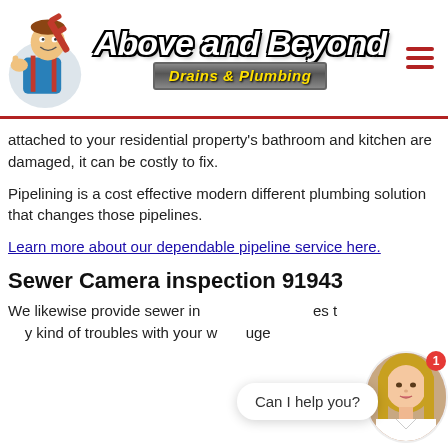[Figure (logo): Above and Beyond Drains & Plumbing logo with plumber mascot cartoon character holding a wrench, italic script logotype, and yellow text on grey metallic bar]
attached to your residential property's bathroom and kitchen are damaged, it can be costly to fix.
Pipelining is a cost effective modern different plumbing solution that changes those pipelines.
Learn more about our dependable pipeline service here.
Sewer Camera inspection 91943
We likewise provide sewer inspection and this service these to identify any kind of troubles with your w... huge c...
[Figure (screenshot): Chat widget overlay showing avatar of a woman with notification badge and 'Can I help you?' speech bubble]